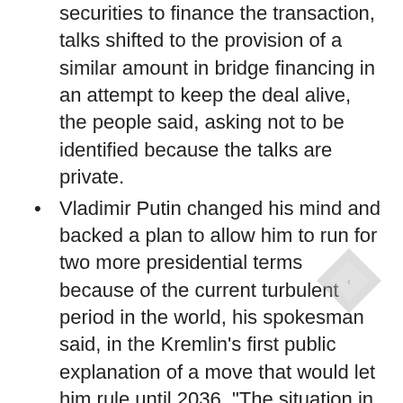securities to finance the transaction, talks shifted to the provision of a similar amount in bridge financing in an attempt to keep the deal alive, the people said, asking not to be identified because the talks are private.
Vladimir Putin changed his mind and backed a plan to allow him to run for two more presidential terms because of the current turbulent period in the world, his spokesman said, in the Kremlin's first public explanation of a move that would let him rule until 2036. “The situation in the world has become less stable,” spokesman Dmitry Peskovtold a conference call Thursday. He cited the coronavirus pandemic, the risks of “global recession,” numerous “acute regional conflicts,” and western sanctions as among